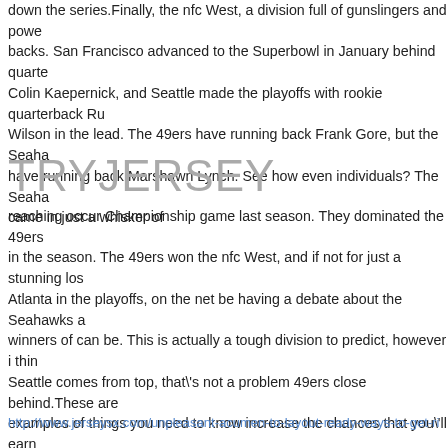down the series.Finally, the nfc West, a division full of gunslingers and powerbacks. San Francisco advanced to the Superbowl in January behind quarterback Colin Kaepernick, and Seattle made the playoffs with rookie quarterback Russell Wilson in the lead. The 49ers have running back Frank Gore, but the Seahawks have running back Marshawn Lynch. See how even individuals? The Seahawks came in just a whisker of
TRYJERSEY
reaching occur Championship game last season. They dominated the 49ers in the season. The 49ers won the nfc West, and if not for just a stunning loss to Atlanta in the playoffs, on the net be having a debate about the Seahawks as winners of can be. This is actually a tough division to predict, however i think Seattle comes from top, that's not a problem 49ers close behind.These are examples of things you need to know increase the chances that you'll earn a level in an area you like, and you'll have a good shot at getting some playing time when you get there.The trend in america where using the power and the money continually take more and more away from those which less must stop. Consider we should all find it that much harder to watch an NFL game once people who benefit one of the most have minimal to no regard regarding long time wealth and well being of those they earning them quantity of money. Take my season tickets back, please.nfl hats, cheap nfl jersey
http://www.jerseysx.com/unpleasant-acumen-to-layout-ready-ways-to-get-ri